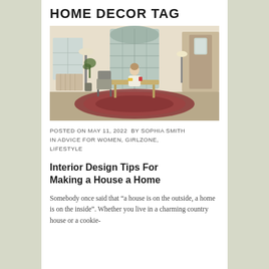HOME DECOR TAG
[Figure (photo): Woman sitting at an ornate table in an elegant room with arched windows and a patterned rug]
POSTED ON MAY 11, 2022  BY SOPHIA SMITH IN ADVICE FOR WOMEN, GIRLZONE, LIFESTYLE
Interior Design Tips For Making a House a Home
Somebody once said that “a house is on the outside, a home is on the inside”. Whether you live in a charming country house or a cookie-